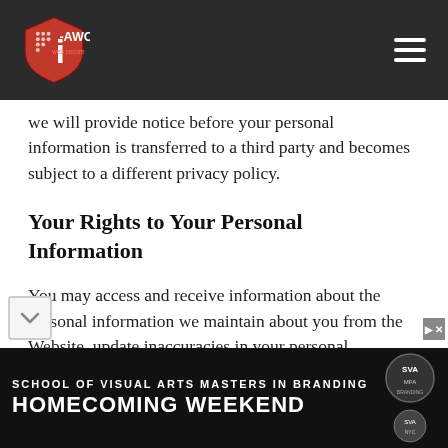i-AWCS web secure — navigation header
we will provide notice before your personal information is transferred to a third party and becomes subject to a different privacy policy.
Your Rights to Your Personal Information
You may access and receive information about the personal information we maintain about you from the Website, update inaccuracies in your personal information, and have the information blocked or deleted, as appropriate.
[Figure (advertisement): School of Visual Arts Masters in Branding Homecoming Weekend advertisement banner in black and white]